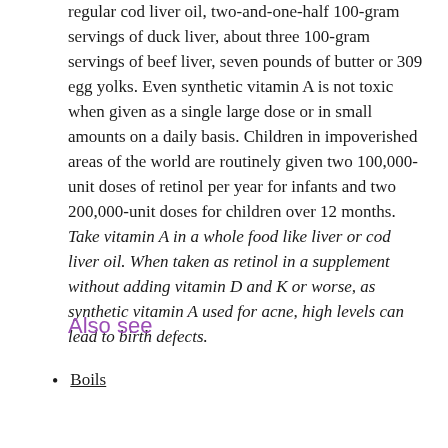regular cod liver oil, two-and-one-half 100-gram servings of duck liver, about three 100-gram servings of beef liver, seven pounds of butter or 309 egg yolks. Even synthetic vitamin A is not toxic when given as a single large dose or in small amounts on a daily basis. Children in impoverished areas of the world are routinely given two 100,000-unit doses of retinol per year for infants and two 200,000-unit doses for children over 12 months.
Take vitamin A in a whole food like liver or cod liver oil. When taken as retinol in a supplement without adding vitamin D and K or worse, as synthetic vitamin A used for acne, high levels can lead to birth defects.
Also see
Boils